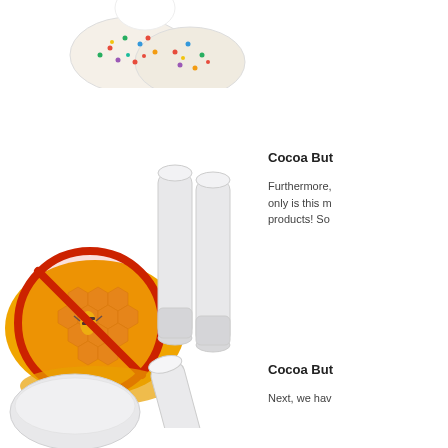[Figure (photo): Cookies with colorful sprinkles and a white chocolate/candy coating, partially visible at top of left column.]
Cocoa But
Furthermore, only is this m products! So
[Figure (photo): Three white lip balm tubes/sticks standing upright next to a honeycomb with a no-bees prohibition sign overlay (red circle with diagonal slash over a bee on honeycomb).]
Cocoa But
Next, we hav
[Figure (photo): A white oval/dome shaped solid cocoa butter or soap bar, partially visible at bottom of left column.]